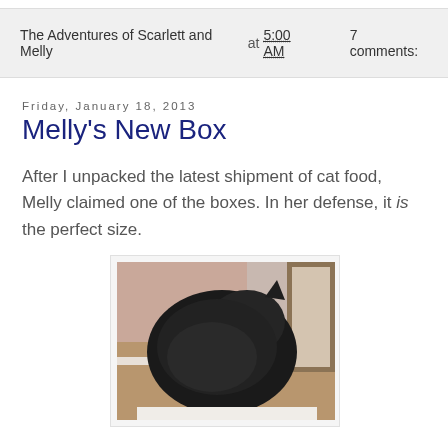The Adventures of Scarlett and Melly at 5:00 AM    7 comments:
Friday, January 18, 2013
Melly's New Box
After I unpacked the latest shipment of cat food, Melly claimed one of the boxes. In her defense, it is the perfect size.
[Figure (photo): A black cat sitting curled up in a cardboard box on a wooden floor]